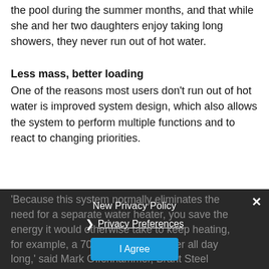the pool during the summer months, and that while she and her two daughters enjoy taking long showers, they never run out of hot water.
Less mass, better loading
One of the reasons most users don't run out of hot water is improved system design, which also allows the system to perform multiple functions and to react to changing priorities.
'Because this system normally eliminates the need for a separate water heater, you save the energy it would otherwise take to keep heating, for example, a 70-gallon water heater all day long,' said Mark Offenhammer, Brant Steel president. "When
New Privacy Policy
Privacy Preferences
I Agree